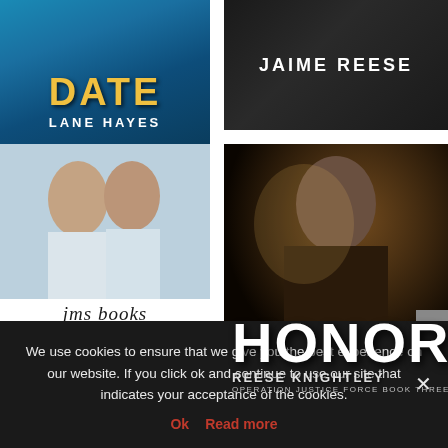[Figure (photo): Book cover: 'Date' by Lane Hayes - blue cover with large yellow title text and author name in white]
[Figure (photo): Book cover by Jaime Reese - dark cover showing a man in black, author name in white text]
[Figure (photo): JMS Books new releases promotional image - couple nearly kissing at top, jms books logo with blue triangle, text 'new releases']
[Figure (photo): Book cover: 'Honor' by Reese Knightley - Operation Justice Force Book Three, dark cover with bearded tattooed man]
We use cookies to ensure that we give you the best experience on our website. If you click ok and continue to use our site that indicates your acceptance of the cookies.
Ok  Read more